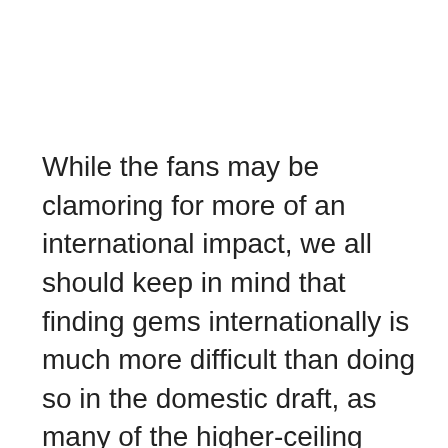While the fans may be clamoring for more of an international impact, we all should keep in mind that finding gems internationally is much more difficult than doing so in the domestic draft, as many of the higher-ceiling international players are signed to contracts when they're as young as 16. When you're dealing with players that young, predicting how they are going to mature both mentally and physically is extremely hard. As much as I want to see every international signee develop into the next big thing, the simple fact that the team was willing to take a chance at adding a potential impact prospect to the system is more than enough to keep me satisfied. Thus, I want to make it clear that I